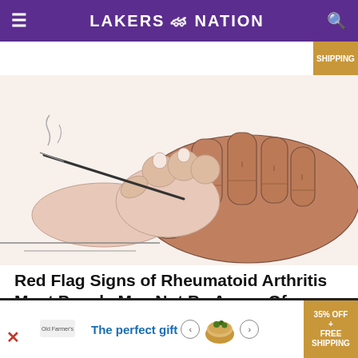LAKERS NATION
[Figure (illustration): Illustrated drawing of two hands — one lighter-skinned hand with a needle or syringe, and one darker-skinned hand, suggesting a medical or arthritis-related concept.]
Red Flag Signs of Rheumatoid Arthritis Most People May Not Be Aware Of
Rheumatoid Arthritis | Search Ads | Sponsored
[Figure (infographic): Advertisement banner: 'The perfect gift' with bowl imagery, navigation arrows, and '35% OFF + FREE SHIPPING' badge.]